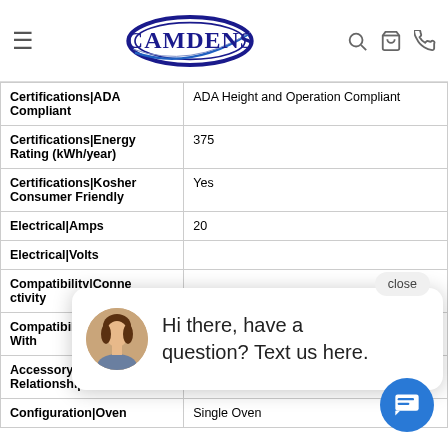Camdens - website navigation header with logo, search, cart, and phone icons
| Attribute | Value |
| --- | --- |
| Certifications|ADA Compliant | ADA Height and Operation Compliant |
| Certifications|Energy Rating (kWh/year) | 375 |
| Certifications|Kosher Consumer Friendly | Yes |
| Electrical|Amps | 20 |
| Electrical|Volts |  |
| Compatibility|Connectivity |  |
| Compatibility|Works With | WiFi App, Remote Access, Voice Controlled |
| Accessory Relationships | Yes |
| Configuration|Oven | Single Oven |
[Figure (screenshot): Chat popup overlay with avatar photo of woman and text: Hi there, have a question? Text us here.]
close
[Figure (infographic): Blue circular chat button with message icon in bottom right corner]